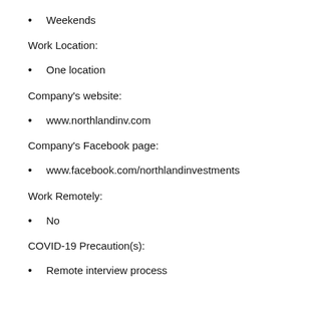Weekends
Work Location:
One location
Company's website:
www.northlandinv.com
Company's Facebook page:
www.facebook.com/northlandinvestments
Work Remotely:
No
COVID-19 Precaution(s):
Remote interview process